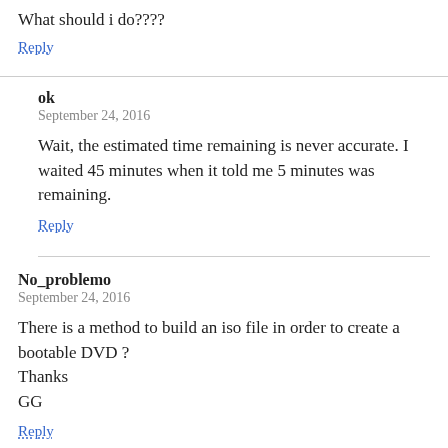What should i do????
Reply
ok
September 24, 2016
Wait, the estimated time remaining is never accurate. I waited 45 minutes when it told me 5 minutes was remaining.
Reply
No_problemo
September 24, 2016
There is a method to build an iso file in order to create a bootable DVD ?
Thanks
GG
Reply
scrutinizer
September 24, 2016